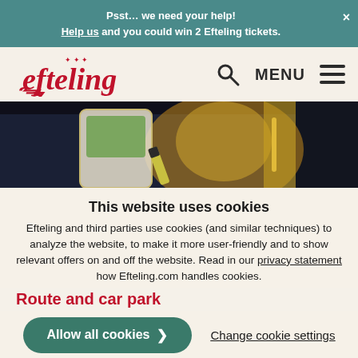Psst… we need your help! Help us and you could win 2 Efteling tickets.
[Figure (logo): Efteling logo with crown and italic red text]
[Figure (photo): Hero banner showing a phone and golden glow against dark background]
This website uses cookies
Efteling and third parties use cookies (and similar techniques) to analyze the website, to make it more user-friendly and to show relevant offers on and off the website. Read in our privacy statement how Efteling.com handles cookies.
Route and car park
Allow all cookies
Change cookie settings
Efteling Hotel can easily be reached by public